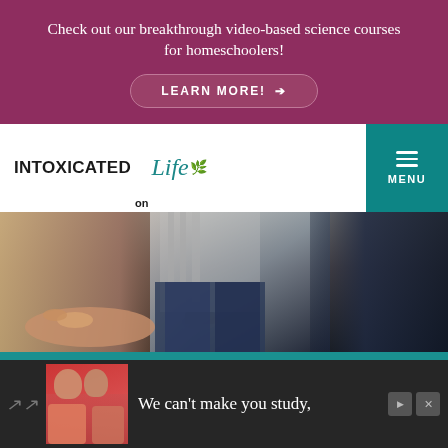Check out our breakthrough video-based science courses for homeschoolers!
LEARN MORE! →
[Figure (logo): Intoxicated on Life logo with teal cursive 'Life' and green leaf icon]
MENU
[Figure (photo): Close-up photo of a child's hand on a dark countertop, child wearing striped shirt and jeans, with kitchen scale visible]
[Figure (logo): Intoxicated on Life circular logo on teal background, white circle with brand name and cursive Life text]
We can't make you study,